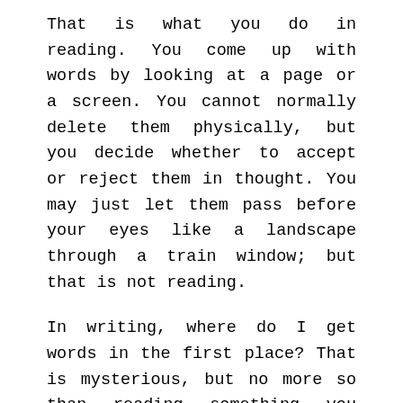That is what you do in reading. You come up with words by looking at a page or a screen. You cannot normally delete them physically, but you decide whether to accept or reject them in thought. You may just let them pass before your eyes like a landscape through a train window; but that is not reading.
In writing, where do I get words in the first place? That is mysterious, but no more so than reading something you have never read before, or even reading an old book in a new way.
Kurzweil's imagined technology might make a composition available to us, without the need to move the focus of our eyeballs along lines